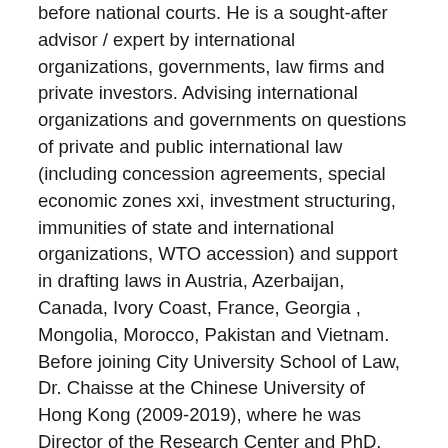before national courts. He is a sought-after advisor / expert by international organizations, governments, law firms and private investors. Advising international organizations and governments on questions of private and public international law (including concession agreements, special economic zones xxi, investment structuring, immunities of state and international organizations, WTO accession) and support in drafting laws in Austria, Azerbaijan, Canada, Ivory Coast, France, Georgia , Mongolia, Morocco, Pakistan and Vietnam. Before joining City University School of Law, Dr. Chaisse at the Chinese University of Hong Kong (2009-2019), where he was Director of the Research Center and PhD. and M.Phil. Program Director.
Previously, he was deputy head of the rules analysis team for multilateral trade and investment agreements at the World Trade Institute (Switzerland, 2006-2009), lecturer at